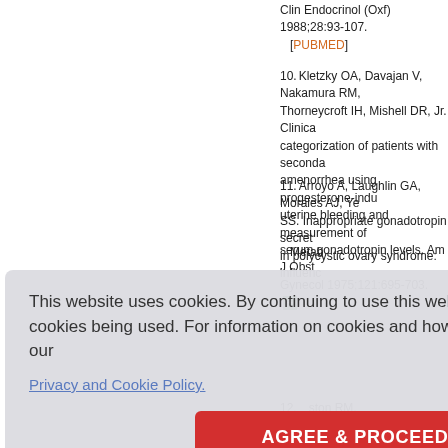Clin Endocrinol (Oxf) 1988;28:93-107. [PUBMED]
10. Kletzky OA, Davajan V, Nakamura RM, Thorneycroft IH, Mishell DR, Jr. Clinical categorization of patients with secondary amenorrhea using progesterone-induced uterine bleeding and measurement of serum gonadotropin levels. Am J Obst Gynecol 1975;121:695-703.
11. Arroyo A, Laughlin GA, Morales AJ, Yen SS. Inappropriate gonadotropin secretion in polycystic ovary syndrome: influence... Metab
...ston RM, nks S. GF-I) inhib otein-1 wh n in and Clin 275-9.
13. Homburg R, Eshel A, Kilborn J, Adams...
This website uses cookies. By continuing to use this website you are giving consent to cookies being used. For information on cookies and how you can disable them visit our Privacy and Cookie Policy.
AGREE & PROCEED